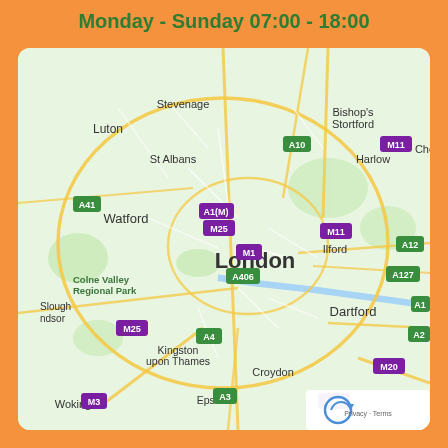Monday - Sunday 07:00 - 18:00
[Figure (map): Google Maps view of Greater London and surrounding areas including Luton, Stevenage, Bishop's Stortford, Harlow, St Albans, Watford, Ilford, Dartford, Kingston upon Thames, Croydon, Epsom, Woking and road labels A41, A10, M11, A1(M), M25, M1, A406, A12, A127, A4, A2, A3, M20, M3. Privacy and Terms label visible in bottom right corner.]